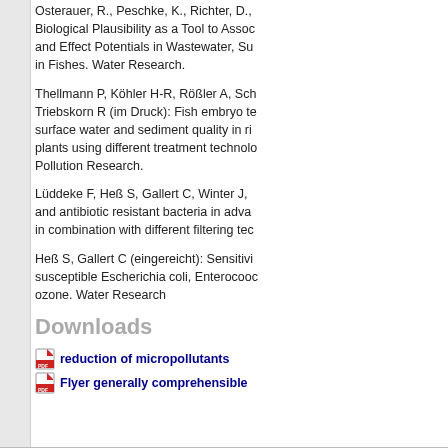Osterauer, R., Peschke, K., Richter, D., ... Biological Plausibility as a Tool to Assoc... and Effect Potentials in Wastewater, Su... in Fishes. Water Research.
Thellmann P, Köhler H-R, Rößler A, Sch... Triebskorn R (im Druck): Fish embryo te... surface water and sediment quality in ri... plants using different treatment technolo... Pollution Research.
Lüddeke F, Heß S, Gallert C, Winter J, ... and antibiotic resistant bacteria in adva... in combination with different filtering tec...
Heß S, Gallert C (eingereicht): Sensitivi... susceptible Escherichia coli, Enterocooc... ozone. Water Research
Downloads
reduction of micropollutants
Flyer generally comprehensible